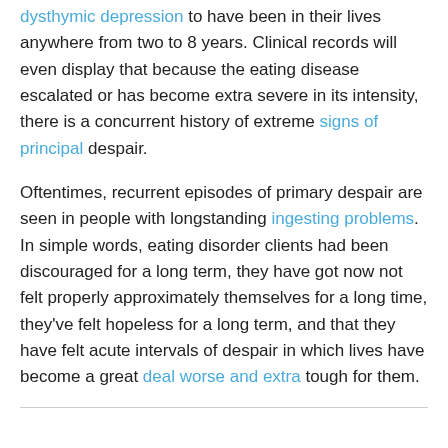dysthymic depression to have been in their lives anywhere from two to 8 years. Clinical records will even display that because the eating disease escalated or has become extra severe in its intensity, there is a concurrent history of extreme signs of principal despair.
Oftentimes, recurrent episodes of primary despair are seen in people with longstanding ingesting problems. In simple words, eating disorder clients had been discouraged for a long term, they have got now not felt properly approximately themselves for a long time, they've felt hopeless for a long term, and that they have felt acute intervals of despair in which lives have become a great deal worse and extra tough for them.